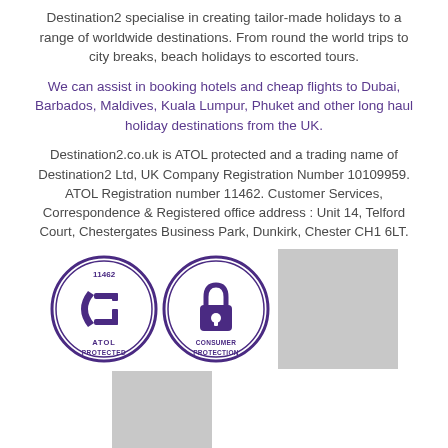Destination2 specialise in creating tailor-made holidays to a range of worldwide destinations. From round the world trips to city breaks, beach holidays to escorted tours.
We can assist in booking hotels and cheap flights to Dubai, Barbados, Maldives, Kuala Lumpur, Phuket and other long haul holiday destinations from the UK.
Destination2.co.uk is ATOL protected and a trading name of Destination2 Ltd, UK Company Registration Number 10109959. ATOL Registration number 11462. Customer Services, Correspondence & Registered office address : Unit 14, Telford Court, Chestergates Business Park, Dunkirk, Chester CH1 6LT.
[Figure (logo): ATOL Protected badge (number 11462) and Consumer Protection padlock badge, plus two gray placeholder rectangles]
Destination2.co.uk © Copyright 2022 / Last updated: 01/09/2022 07:35:20 loc